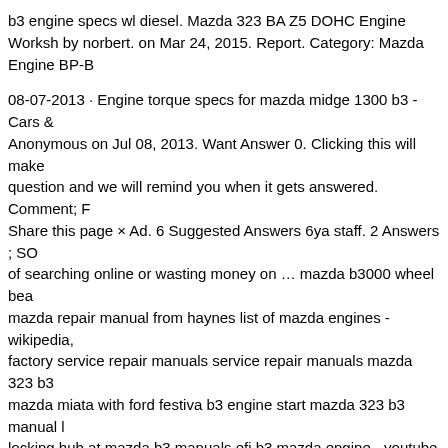b3 engine specs wl diesel. Mazda 323 BA Z5 DOHC Engine Workshop by norbert. on Mar 24, 2015. Report. Category: Mazda Engine BP-B
08-07-2013 · Engine torque specs for mazda midge 1300 b3 - Cars & Anonymous on Jul 08, 2013. Want Answer 0. Clicking this will make question and we will remind you when it gets answered. Comment; F Share this page × Ad. 6 Suggested Answers 6ya staff. 2 Answers ; SO of searching online or wasting money on … mazda b3000 wheel bea mazda repair manual from haynes list of mazda engines - wikipedia, factory service repair manuals service repair manuals mazda 323 b3 mazda miata with ford festiva b3 engine start mazda 323 b3 manual locking hub at mazda b3 manuals efi b3 mazda engine - youtube …
WEB20BLOG.ORG PDF Ebook and Manual Reference Mazda B3 E Printable_2020 The big ebook you want to read is Mazda B3 Engine Printable_2020. mazda 323 pdf service repair workshop manual 1985 B6-DOHC BP-DOHC WORKSHOP REPAIR MANUAL Mazda 323 Service Repair Manual 1981 1982 1985 1984 1985
08-07-2013 · Engine torque specs for mazda midge 1300 b3 - Cars &